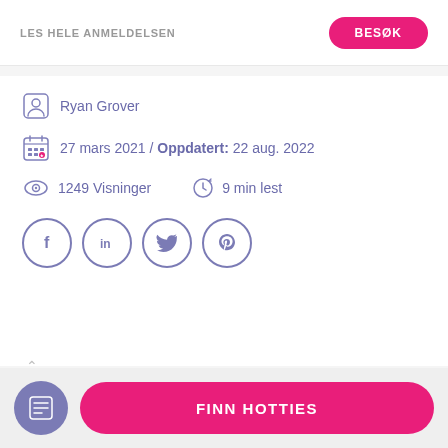LES HELE ANMELDELSEN
BESØK
Ryan Grover
27 mars 2021 / Oppdatert: 22 aug. 2022
1249 Visninger
9 min lest
[Figure (other): Social media share icons: Facebook, LinkedIn, Twitter, Pinterest in outlined circles]
4%
HVA ER – BHM DATING?
FINN HOTTIES